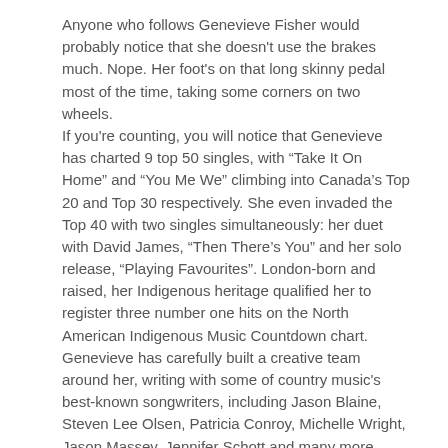Anyone who follows Genevieve Fisher would probably notice that she doesn't use the brakes much. Nope. Her foot's on that long skinny pedal most of the time, taking some corners on two wheels.
If you're counting, you will notice that Genevieve has charted 9 top 50 singles, with “Take It On Home” and “You Me We” climbing into Canada’s Top 20 and Top 30 respectively. She even invaded the Top 40 with two singles simultaneously: her duet with David James, “Then There’s You” and her solo release, “Playing Favourites”. London-born and raised, her Indigenous heritage qualified her to register three number one hits on the North American Indigenous Music Countdown chart.
Genevieve has carefully built a creative team around her, writing with some of country music's best-known songwriters, including Jason Blaine, Steven Lee Olsen, Patricia Conroy, Michelle Wright, Jason Massey, Jennifer Schott and many more. She's performed at Boots and Hearts, Lucknow's Music In The Fields, Manitoulin Country Fest, Trackside and Aboriginal Day Live. Plus, she's shared billing with stars like Hunter Hayes, Lee Brice, David Nail, Dean Brody and Great Big Sea.
Given all that, it's no surprise she's a multiple CMAOntario